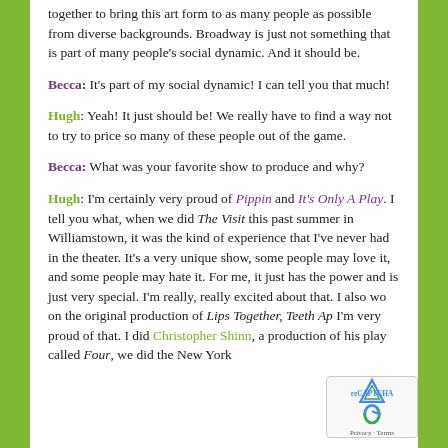together to bring this art form to as many people as possible from diverse backgrounds. Broadway is just not something that is part of many people's social dynamic. And it should be.
Becca: It's part of my social dynamic! I can tell you that much!
Hugh: Yeah! It just should be! We really have to find a way not to try to price so many of these people out of the game.
Becca: What was your favorite show to produce and why?
Hugh: I'm certainly very proud of Pippin and It's Only A Play. I tell you what, when we did The Visit this past summer in Williamstown, it was the kind of experience that I've never had in the theater. It's a very unique show, some people may love it, and some people may hate it. For me, it just has the power and is just very special. I'm really, really excited about that. I also wo on the original production of Lips Together, Teeth Ap I'm very proud of that. I did Christopher Shinn, a production of his play called Four, we did the New York